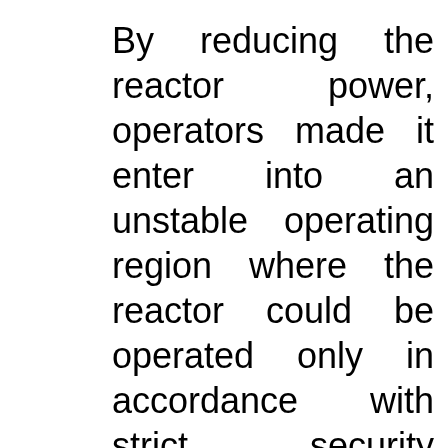By reducing the reactor power, operators made it enter into an unstable operating region where the reactor could be operated only in accordance with strict security instructions. To complete the test, operators made mistakes that led them to violate these